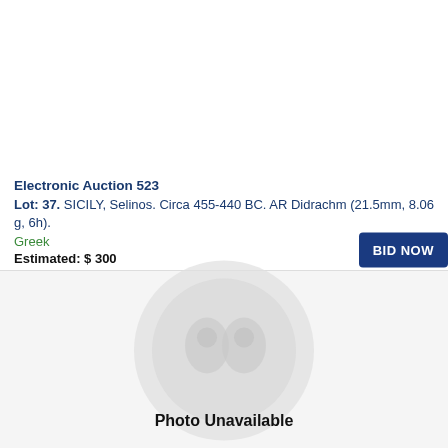Electronic Auction 523
Lot: 37. SICILY, Selinos. Circa 455-440 BC. AR Didrachm (21.5mm, 8.06 g, 6h).
Greek
Estimated: $ 300
[Figure (photo): Photo Unavailable placeholder with circular coin image watermark]